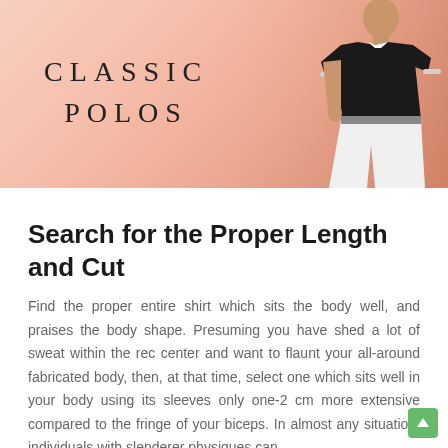[Figure (photo): Promotional banner for Classic Polos with a salmon/peach gradient background and a man wearing a black polo shirt with white pants on the right side. Text reads 'CLASSIC POLOS' in serif letterpress style.]
Search for the Proper Length and Cut
Find the proper entire shirt which sits the body well, and praises the body shape. Presuming you have shed a lot of sweat within the rec center and want to flaunt your all-around fabricated body, then, at that time, select one which sits well in your body using its sleeves only one-2 cm more extensive compared to the fringe of your biceps. In almost any situation, individuals with slenderer physiques can